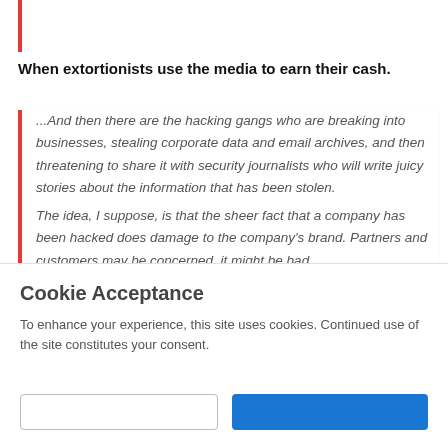When extortionists use the media to earn their cash.
...And then there are the hacking gangs who are breaking into businesses, stealing corporate data and email archives, and then threatening to share it with security journalists who will write juicy stories about the information that has been stolen.
The idea, I suppose, is that the sheer fact that a company has been hacked does damage to the company's brand. Partners and customers may be concerned, it might be bad
Cookie Acceptance
To enhance your experience, this site uses cookies. Continued use of the site constitutes your consent.